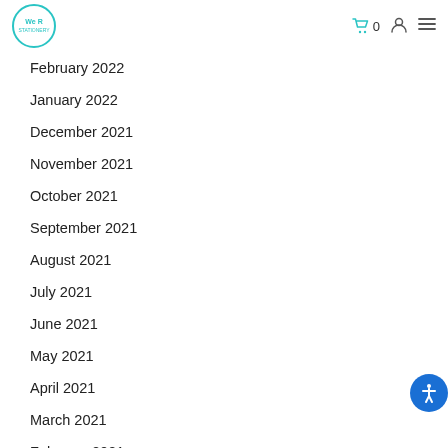We R — navigation header with logo, cart (0), user icon, menu
February 2022
January 2022
December 2021
November 2021
October 2021
September 2021
August 2021
July 2021
June 2021
May 2021
April 2021
March 2021
February 2021